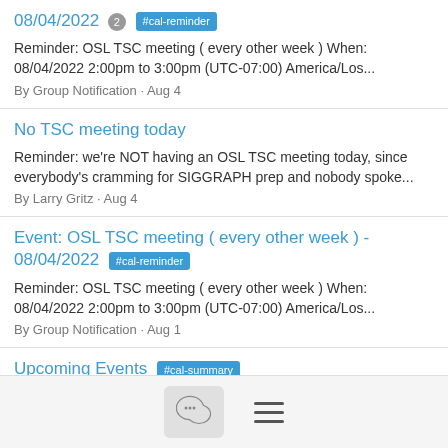08/04/2022 2 #cal-reminder
Reminder: OSL TSC meeting ( every other week ) When: 08/04/2022 2:00pm to 3:00pm (UTC-07:00) America/Los...
By Group Notification · Aug 4
No TSC meeting today
Reminder: we're NOT having an OSL TSC meeting today, since everybody's cramming for SIGGRAPH prep and nobody spoke...
By Larry Gritz · Aug 4
Event: OSL TSC meeting ( every other week ) - 08/04/2022 #cal-reminder
Reminder: OSL TSC meeting ( every other week ) When: 08/04/2022 2:00pm to 3:00pm (UTC-07:00) America/Los...
By Group Notification · Aug 1
Upcoming Events #cal-summary
Open Shading Language discussion list Upcoming Events OSL TSC meeting ( every other week ) When: Thursday, August 4...